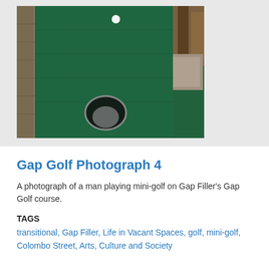[Figure (photo): A photograph of a mini-golf course with dark green artificial turf, a golf ball visible near the top, a hole with a circular marker in the foreground, and stone/brick walls on the sides with wooden posts.]
Gap Golf Photograph 4
A photograph of a man playing mini-golf on Gap Filler's Gap Golf course.
TAGS
transitional, Gap Filler, Life in Vacant Spaces, golf, mini-golf, Colombo Street, Arts, Culture and Society